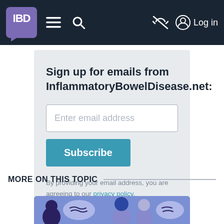IBD | InflammatoryBowelDisease.net navigation bar with Log in
Sign up for emails from InflammatoryBowelDisease.net:
[Figure (screenshot): Email input field with placeholder text 'Enter email address' and a teal Subscribe button below]
By providing your email address, you are agreeing to our privacy policy.
MORE ON THIS TOPIC
[Figure (illustration): Blue banner with illustrated figures of people with speech bubbles]